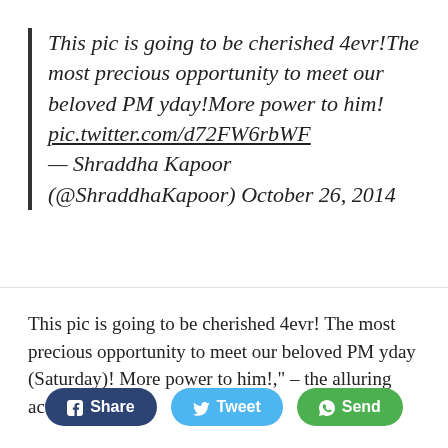This pic is going to be cherished 4evr!The most precious opportunity to meet our beloved PM yday!More power to him! pic.twitter.com/d72FW6rbWF — Shraddha Kapoor (@ShraddhaKapoor) October 26, 2014
This pic is going to be cherished 4evr! The most precious opportunity to meet our beloved PM yday (Saturday)! More power to him!," – the alluring actress twitted.